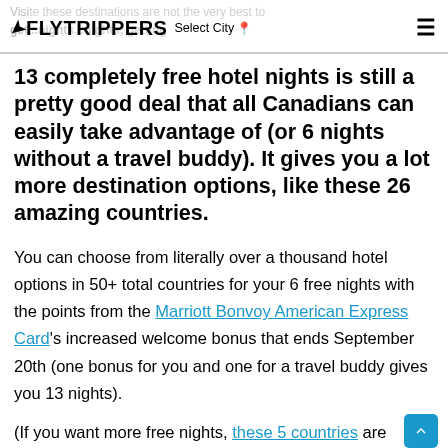FLYTRIPPERS Select City
13 completely free hotel nights is still a pretty good deal that all Canadians can easily take advantage of (or 6 nights without a travel buddy). It gives you a lot more destination options, like these 26 amazing countries.
You can choose from literally over a thousand hotel options in 50+ total countries for your 6 free nights with the points from the Marriott Bonvoy American Express Card's increased welcome bonus that ends September 20th (one bonus for you and one for a travel buddy gives you 13 nights).
(If you want more free nights, these 5 countries are